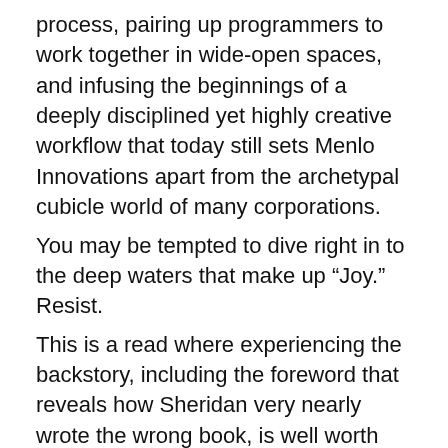process, pairing up programmers to work together in wide-open spaces, and infusing the beginnings of a deeply disciplined yet highly creative workflow that today still sets Menlo Innovations apart from the archetypal cubicle world of many corporations.
You may be tempted to dive right in to the deep waters that make up “Joy.” Resist.
This is a read where experiencing the backstory, including the foreword that reveals how Sheridan very nearly wrote the wrong book, is well worth the time.
But “Joy, Inc.” does sate the reader’s appetite, by clearly, explicitly and largely without reservation revealing how Menlo structures an operation that is so fundamentally different from thousands of businesses where one thing is said—“our people are our most important asset” being one example—and quite the opposite ends up taking place.
You’ll discover how the name “Menlo” came to be used (in part a homage to Thomas Edison’s Menlo Park, N.J.